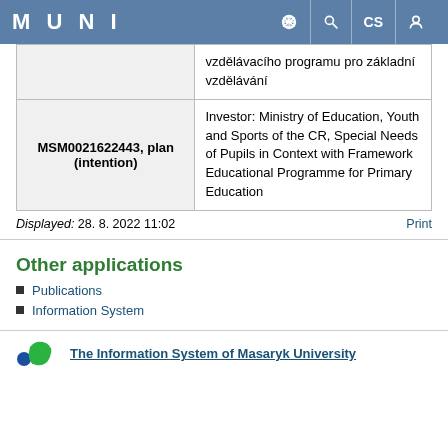MUNI — navigation header
|  |  |
| --- | --- |
| vzdělávacího programu pro základní vzdělávání |  |
| MSM0021622443, plan (intention) | Investor: Ministry of Education, Youth and Sports of the CR, Special Needs of Pupils in Context with Framework Educational Programme for Primary Education |
Displayed: 28. 8. 2022 11:02    Print
Other applications
Publications
Information System
The Information System of Masaryk University